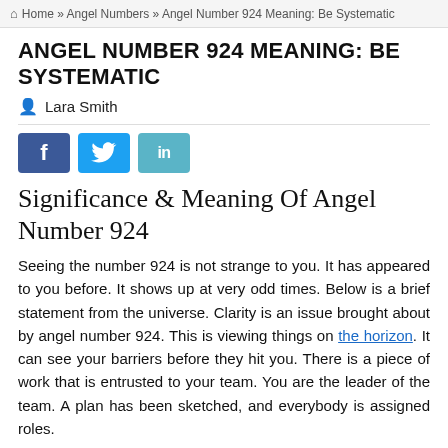Home » Angel Numbers » Angel Number 924 Meaning: Be Systematic
ANGEL NUMBER 924 MEANING: BE SYSTEMATIC
Lara Smith
[Figure (other): Social share buttons: Facebook (f), Twitter (bird icon), LinkedIn (in)]
Significance & Meaning Of Angel Number 924
Seeing the number 924 is not strange to you. It has appeared to you before. It shows up at very odd times. Below is a brief statement from the universe. Clarity is an issue brought about by angel number 924. This is viewing things on the horizon. It can see your barriers before they hit you. There is a piece of work that is entrusted to your team. You are the leader of the team. A plan has been sketched, and everybody is assigned roles.